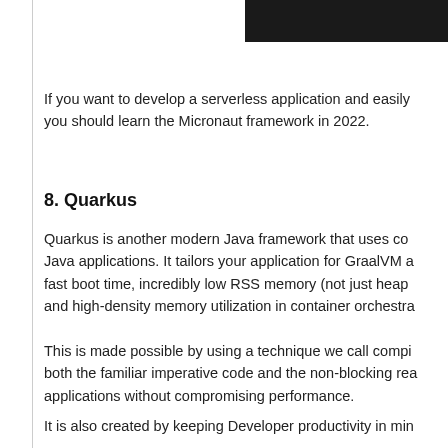[Figure (other): Dark header bar in the top right corner of the page]
If you want to develop a serverless application and easily you should learn the Micronaut framework in 2022.
8. Quarkus
Quarkus is another modern Java framework that uses co… Java applications. It tailors your application for GraalVM a… fast boot time, incredibly low RSS memory (not just heap… and high-density memory utilization in container orchestra…
This is made possible by using a technique we call compi… both the familiar imperative code and the non-blocking rea… applications without compromising performance.
It is also created by keeping Developer productivity in min…